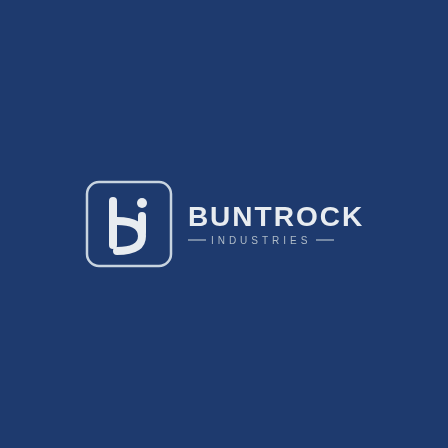[Figure (logo): Buntrock Industries logo: a rounded square icon containing a stylized 'bi' lettermark in white on dark blue background, beside the text 'BUNTROCK' in large white letters and '—INDUSTRIES—' in smaller spaced letters with decorative dashes, all on a dark navy blue background.]